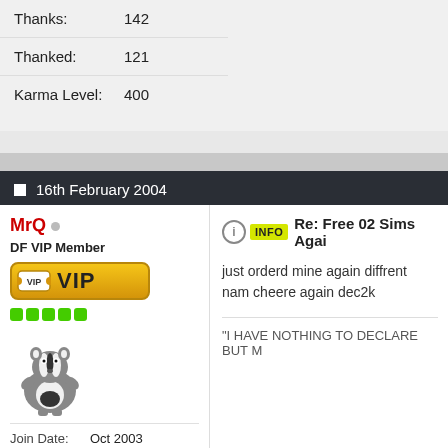| Thanks: | 142 |
| Thanked: | 121 |
| Karma Level: | 400 |
16th February 2004
MrQ
DF VIP Member
[Figure (other): VIP badge with ticket icon]
[Figure (illustration): Badger mascot illustration]
| Join Date: | Oct 2003 |
| Location: | nearmymate |
| Posts: | 223 |
| Thanks: | 0 |
Re: Free 02 Sims Agai
just orderd mine again diffrent nam cheere again dec2k
"I HAVE NOTHING TO DECLARE BUT M